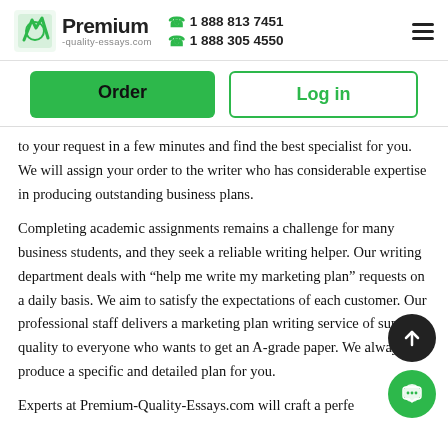[Figure (logo): Premium-quality-essays.com logo with green pencil icon, phone numbers 1 888 813 7451 and 1 888 305 4550, and hamburger menu icon]
[Figure (other): Order button (green) and Log in button (white with green border)]
to your request in a few minutes and find the best specialist for you. We will assign your order to the writer who has considerable expertise in producing outstanding business plans.
Completing academic assignments remains a challenge for many business students, and they seek a reliable writing helper. Our writing department deals with “help me write my marketing plan” requests on a daily basis. We aim to satisfy the expectations of each customer. Our professional staff delivers a marketing plan writing service of superb quality to everyone who wants to get an A-grade paper. We always produce a specific and detailed plan for you.
Experts at Premium-Quality-Essays.com will craft a perfe…